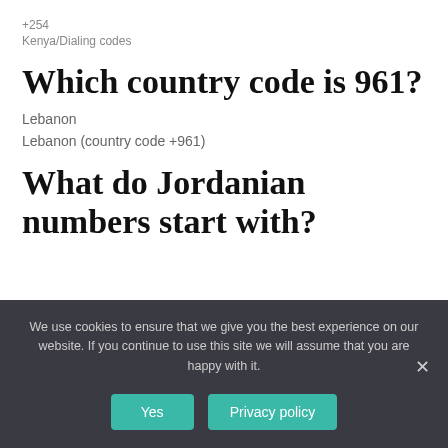+254
Kenya/Dialing codes
Which country code is 961?
Lebanon
Lebanon (country code +961)
What do Jordanian numbers start with?
We use cookies to ensure that we give you the best experience on our website. If you continue to use this site we will assume that you are happy with it.